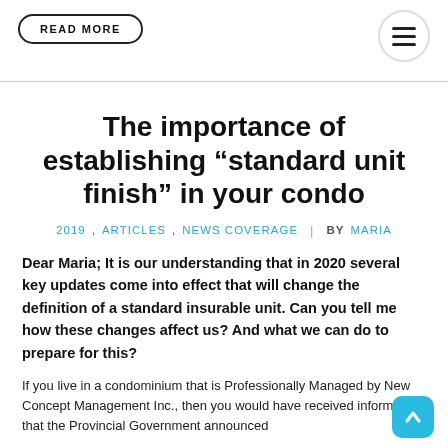READ MORE
The importance of establishing “standard unit finish” in your condo
2019, ARTICLES, NEWS COVERAGE | BY MARIA
Dear Maria; It is our understanding that in 2020 several key updates come into effect that will change the definition of a standard insurable unit. Can you tell me how these changes affect us? And what we can do to prepare for this?
If you live in a condominium that is Professionally Managed by New Concept Management Inc., then you would have received information that the Provincial Government announced